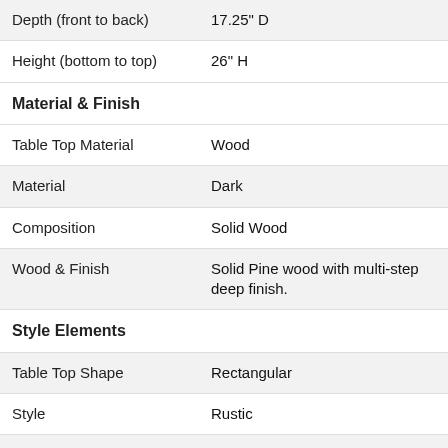| Depth (front to back) | 17.25" D |
| Height (bottom to top) | 26" H |
| Material & Finish |  |
| Table Top Material | Wood |
| Material | Dark |
| Composition | Solid Wood |
| Wood & Finish | Solid Pine wood with multi-step deep finish. |
| Style Elements |  |
| Table Top Shape | Rectangular |
| Style | Rustic |
| Style | Transitional |
| Storage & Features |  |
| # of Doors | 1 |